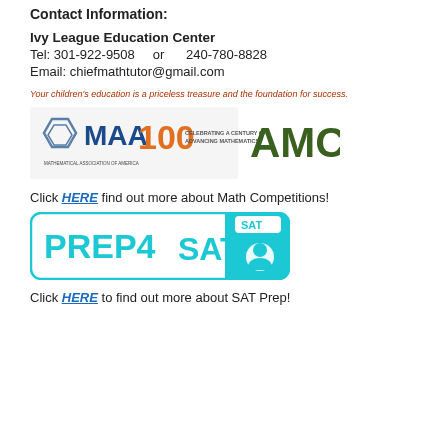Contact Information:
Ivy League Education Center
Tel:  301-922-9508     or       240-780-8828
Email:  chiefmathtutor@gmail.com
Your children's education is a priceless treasure and the foundation for success.
[Figure (logo): MAA 100 Celebrating a Century of Advancing Mathematics and AMC logos side by side]
Click HERE find out more about Math Competitions!
[Figure (logo): PREP4SAT logo with teal border and SAT badge icon]
Click HERE to find out more about SAT Prep!